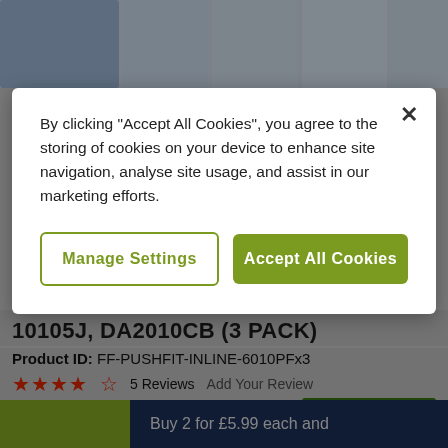[Figure (screenshot): Top strip of product thumbnail images showing blue/grey product photos]
10105J, DA2010CB (3 PACK)
Product ID: FF-PUSHFIT-INLINE-6010PFx3
★★★★☆  5 Reviews   Add Your Review
£13.99
IN STOCK
Buy 2 for £5.99 each and
By clicking "Accept All Cookies", you agree to the storing of cookies on your device to enhance site navigation, analyse site usage, and assist in our marketing efforts.
Manage Settings
Accept All Cookies